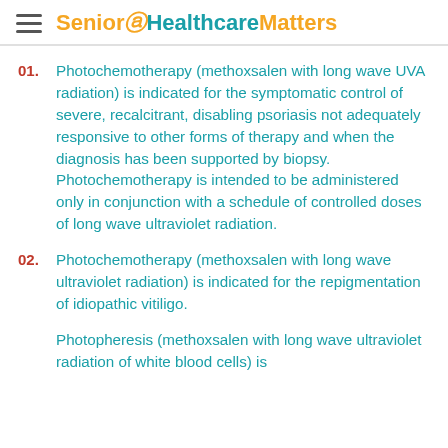Senior Healthcare Matters
01. Photochemotherapy (methoxsalen with long wave UVA radiation) is indicated for the symptomatic control of severe, recalcitrant, disabling psoriasis not adequately responsive to other forms of therapy and when the diagnosis has been supported by biopsy. Photochemotherapy is intended to be administered only in conjunction with a schedule of controlled doses of long wave ultraviolet radiation.
02. Photochemotherapy (methoxsalen with long wave ultraviolet radiation) is indicated for the repigmentation of idiopathic vitiligo.
Photopheresis (methoxsalen with long wave ultraviolet radiation of white blood cells) is